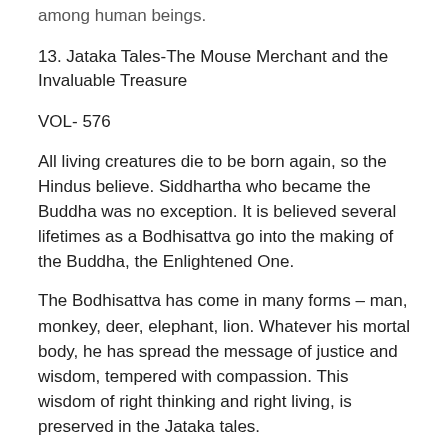among human beings.
13. Jataka Tales-The Mouse Merchant and the Invaluable Treasure
VOL- 576
All living creatures die to be born again, so the Hindus believe. Siddhartha who became the Buddha was no exception. It is believed several lifetimes as a Bodhisattva go into the making of the Buddha, the Enlightened One.
The Bodhisattva has come in many forms – man, monkey, deer, elephant, lion. Whatever his mortal body, he has spread the message of justice and wisdom, tempered with compassion. This wisdom of right thinking and right living, is preserved in the Jataka tales.
These tales are based on the folklore, legends and ballads of ancient India. We cannot assign a definite date to the Jataka stories. Taking into account archaeological and literary evidence it appears that they were compiled in the period, the